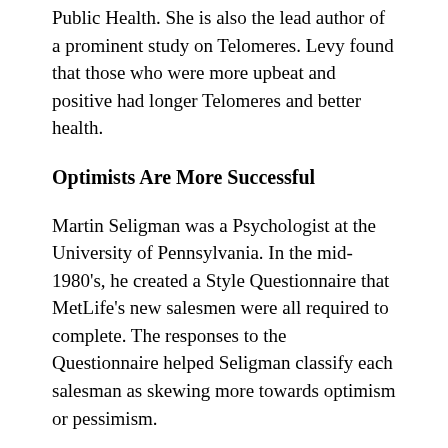Public Health. She is also the lead author of a prominent study on Telomeres. Levy found that those who were more upbeat and positive had longer Telomeres and better health.
Optimists Are More Successful
Martin Seligman was a Psychologist at the University of Pennsylvania. In the mid-1980's, he created a Style Questionnaire that MetLife's new salesmen were all required to complete. The responses to the Questionnaire helped Seligman classify each salesman as skewing more towards optimism or pessimism.
After two years of selling, Seligman compared the success of each salesman to the answers on the Questionnaires. What he found was eye-opening – the MetLife salesmen who skewed towards optimism outsold the pessimists by 20% in year one and 50% in year two.